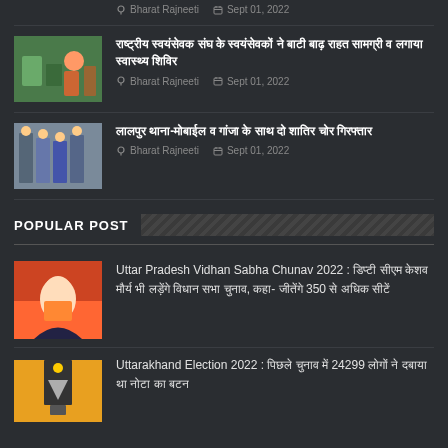Bharat Rajneeti  Sept 01, 2022
[Figure (photo): News thumbnail for RSS relief camp article]
राष्ट्रीय स्वयंसेवक संघ के स्वयंसेवकों ने बाटी बाढ़ राहत सामग्री व लगाया स्वास्थ्य शिविर
Bharat Rajneeti  Sept 01, 2022
[Figure (photo): News thumbnail for Lalpura thana article]
लालपुर  थाना-मोबाईल व गांजा के साथ दो शातिर चोर गिरफ्तार
Bharat Rajneeti  Sept 01, 2022
POPULAR POST
[Figure (photo): News thumbnail for Keshav Maurya article]
Uttar Pradesh Vidhan Sabha Chunav 2022 : डिप्टी सीएम केशव मौर्य भी लड़ेंगे विधान सभा चुनाव, कहा- जीतेंगे 350 से अधिक सीटें
[Figure (photo): News thumbnail for Uttarakhand Election 2022 article]
Uttarakhand Election 2022 : पिछले चुनाव में 24299 लोगों ने दबाया था नोटा का बटन